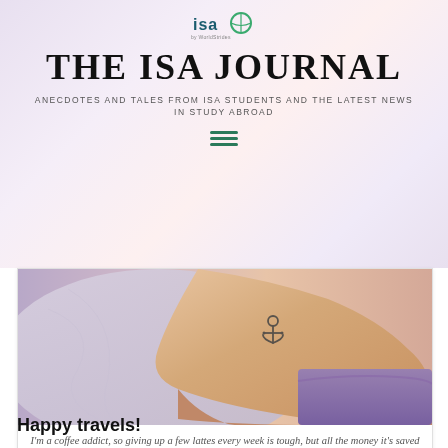[Figure (logo): ISA by WorldStrides logo with circular globe icon]
THE ISA JOURNAL
ANECDOTES AND TALES FROM ISA STUDENTS AND THE LATEST NEWS IN STUDY ABROAD
[Figure (illustration): Hamburger menu icon with three green horizontal lines]
[Figure (photo): Close-up photo of a person's ankle/foot with a small anchor tattoo, resting on fabric. Warm purple/pink tones.]
I'm a coffee addict, so giving up a few lattes every week is tough, but all the money it's saved me is well worth it!
Happy travels!